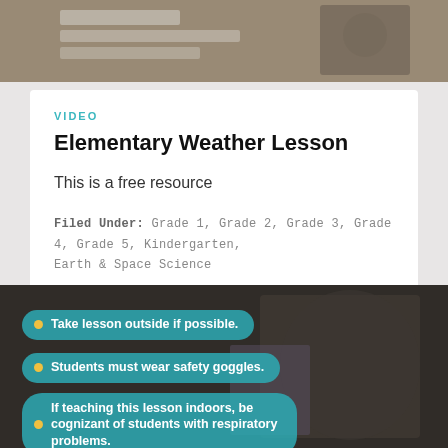[Figure (photo): Top portion of a classroom photo showing a student at a desk with papers]
VIDEO
Elementary Weather Lesson
This is a free resource
Filed Under: Grade 1, Grade 2, Grade 3, Grade 4, Grade 5, Kindergarten, Earth & Space Science
[Figure (photo): Video screenshot with overlaid teal bullet points on a dark background: Take lesson outside if possible. / Students must wear safety goggles. / If teaching this lesson indoors, be cognizant of students with respiratory problems.]